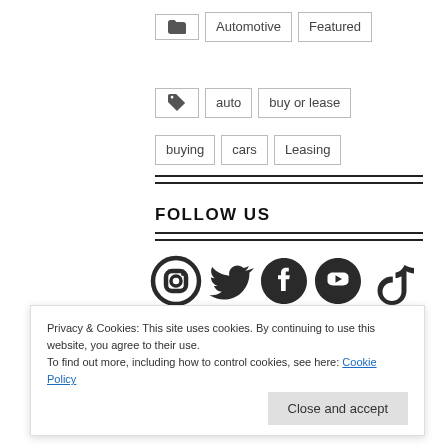folder icon | Automotive | Featured
tag icon | auto | buy or lease
buying | cars | Leasing
FOLLOW US
[Figure (other): Social media icons: Instagram, Twitter, Facebook, YouTube, TikTok]
Privacy & Cookies: This site uses cookies. By continuing to use this website, you agree to their use. To find out more, including how to control cookies, see here: Cookie Policy
Close and accept